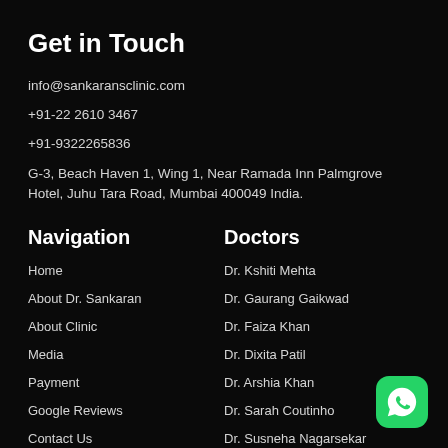Get in Touch
info@sankaransclinic.com
+91-22 2610 3467
+91-9322265836
G-3, Beach Haven 1, Wing 1, Near Ramada Inn Palmgrove Hotel, Juhu Tara Road, Mumbai 400049 India.
Navigation
Doctors
Home
Dr. Kshiti Mehta
About Dr. Sankaran
Dr. Gaurang Gaikwad
About Clinic
Dr. Faiza Khan
Media
Dr. Dixita Patil
Payment
Dr. Arshia Khan
Google Reviews
Dr. Sarah Coutinho
Contact Us
Dr. Susneha Nagarsekar